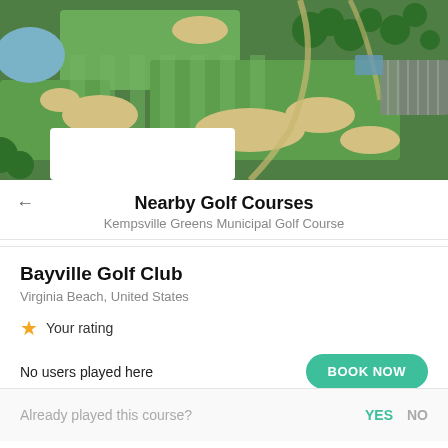[Figure (photo): Aerial view of a golf course with green fairways, sand bunkers, a pond, trees, and a parking area]
Nearby Golf Courses
Kempsville Greens Municipal Golf Course
Bayville Golf Club
Virginia Beach, United States
★ Your rating
No users played here
BOOK NOW
Already played this course?
YES  NO